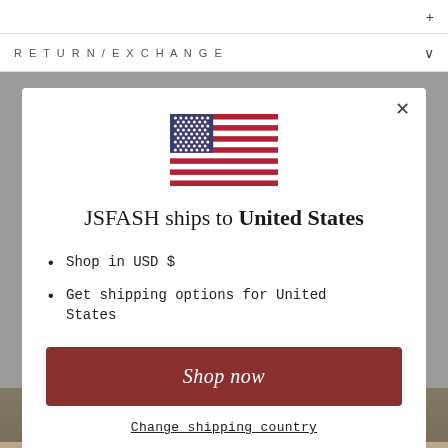RETURN/EXCHANGE
[Figure (screenshot): Modal dialog on e-commerce website showing US flag, shipping destination info, and shop now button]
JSFASH ships to United States
Shop in USD $
Get shipping options for United States
Shop now
Change shipping country